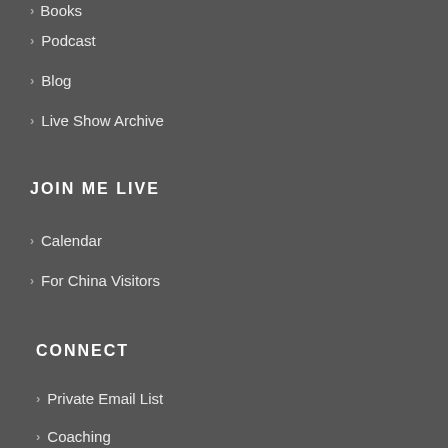Books
Podcast
Blog
Live Show Archive
JOIN ME LIVE
Calendar
For China Visitors
CONNECT
Private Email List
Coaching